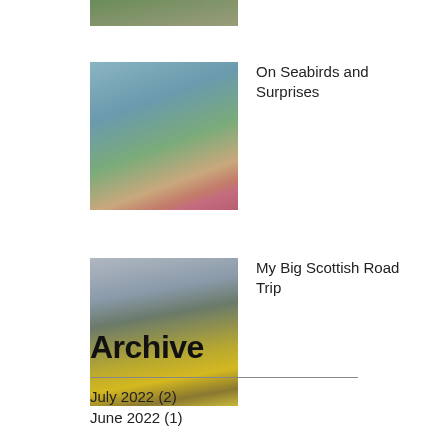[Figure (photo): Partial top view of a photo showing a wooden structure in a grassy field, cropped at top of page]
On Seabirds and Surprises
[Figure (photo): Coastal scene with pink flowers (sea thrift) on rocky cliffs, a bay with green hills in the background]
My Big Scottish Road Trip
[Figure (photo): Scottish highland landscape with yellow gorse flowers in the foreground and misty hills behind]
Archive
July 2022 (2)
June 2022 (1)